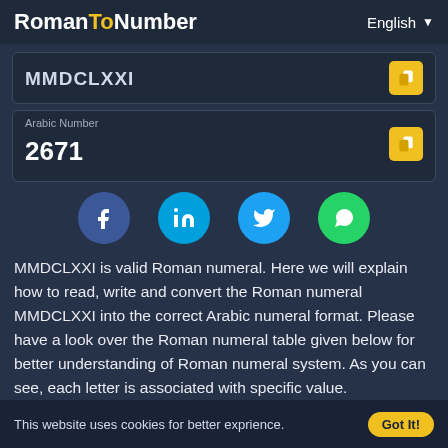RomanToNumber | English
MMDCLXXI
Arabic Number
2671
[Figure (other): Social sharing icons: Facebook, LinkedIn, Twitter, WhatsApp]
MMDCLXXI is valid Roman numeral. Here we will explain how to read, write and convert the Roman numeral MMDCLXXI into the correct Arabic numeral format. Please have a look over the Roman numeral table given below for better understanding of Roman numeral system. As you can see, each letter is associated with specific value.
This website uses cookies for better exprience.  Got It!